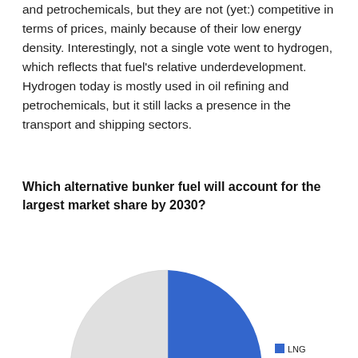and petrochemicals, but they are not (yet:) competitive in terms of prices, mainly because of their low energy density. Interestingly, not a single vote went to hydrogen, which reflects that fuel's relative underdevelopment. Hydrogen today is mostly used in oil refining and petrochemicals, but it still lacks a presence in the transport and shipping sectors.
Which alternative bunker fuel will account for the largest market share by 2030?
[Figure (pie-chart): Which alternative bunker fuel will account for the largest market share by 2030?]